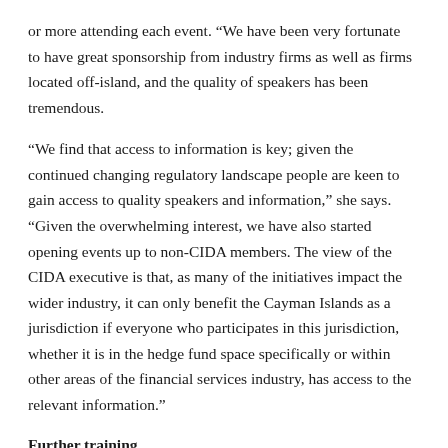or more attending each event. “We have been very fortunate to have great sponsorship from industry firms as well as firms located off-island, and the quality of speakers has been tremendous.
“We find that access to information is key; given the continued changing regulatory landscape people are keen to gain access to quality speakers and information,” she says. “Given the overwhelming interest, we have also started opening events up to non-CIDA members. The view of the CIDA executive is that, as many of the initiatives impact the wider industry, it can only benefit the Cayman Islands as a jurisdiction if everyone who participates in this jurisdiction, whether it is in the hedge fund space specifically or within other areas of the financial services industry, has access to the relevant information.”
Further training
CIDA once again hosted the Directors Education and Accreditation Programme (DEAP), which, Powell says, continues to be of great interest,